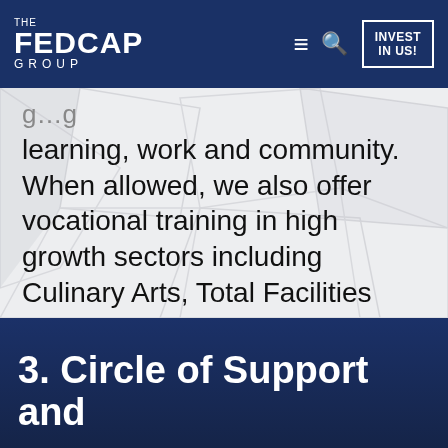THE FEDCAP GROUP | INVEST IN US!
learning, work and community. When allowed, we also offer vocational training in high growth sectors including Culinary Arts, Total Facilities Management, Office Administration, etc.
3. Circle of Support and